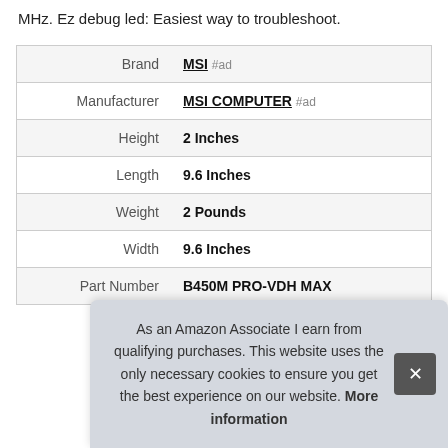MHz. Ez debug led: Easiest way to troubleshoot.
| Attribute | Value |
| --- | --- |
| Brand | MSI #ad |
| Manufacturer | MSI COMPUTER #ad |
| Height | 2 Inches |
| Length | 9.6 Inches |
| Weight | 2 Pounds |
| Width | 9.6 Inches |
| Part Number | B450M PRO-VDH MAX |
As an Amazon Associate I earn from qualifying purchases. This website uses the only necessary cookies to ensure you get the best experience on our website. More information